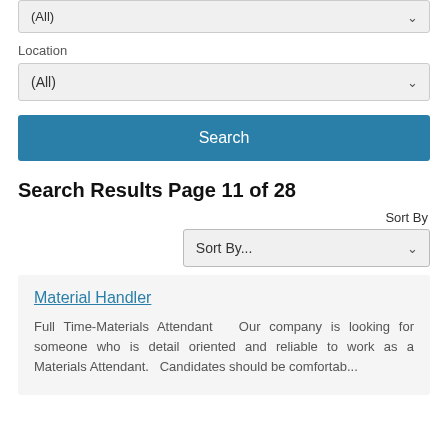(All) [dropdown - top, cut off]
Location
(All) [location dropdown]
Search [button]
Search Results Page 11 of 28
Sort By
Sort By... [dropdown]
Material Handler
Full Time-Materials Attendant   Our company is looking for someone who is detail oriented and reliable to work as a Materials Attendant.   Candidates should be comfortab...